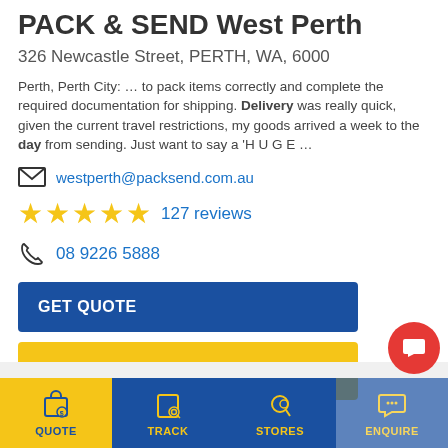PACK & SEND West Perth
326 Newcastle Street, PERTH, WA, 6000
Perth, Perth City: … to pack items correctly and complete the required documentation for shipping. Delivery was really quick, given the current travel restrictions, my goods arrived a week to the day from sending. Just want to say a 'H U G E …
westperth@packsend.com.au
★★★★★ 127 reviews
08 9226 5888
GET QUOTE
VIEW DETAILS →
QUOTE | TRACK | STORES | ENQUIRE